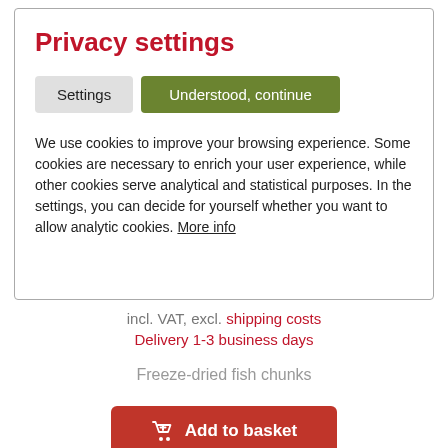Privacy settings
Settings | Understood, continue
We use cookies to improve your browsing experience. Some cookies are necessary to enrich your user experience, while other cookies serve analytical and statistical purposes. In the settings, you can decide for yourself whether you want to allow analytic cookies. More info
incl. VAT, excl. shipping costs
Delivery 1-3 business days
Freeze-dried fish chunks
Add to basket